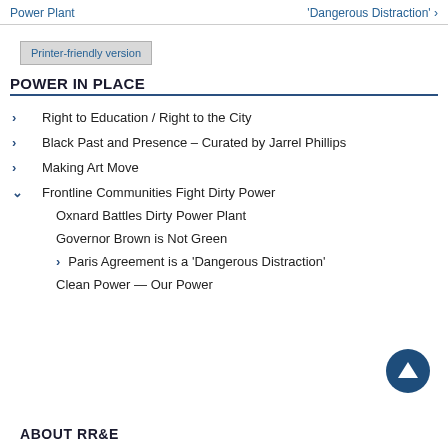Power Plant   'Dangerous Distraction' ›
Printer-friendly version
POWER IN PLACE
Right to Education / Right to the City
Black Past and Presence – Curated by Jarrel Phillips
Making Art Move
Frontline Communities Fight Dirty Power
Oxnard Battles Dirty Power Plant
Governor Brown is Not Green
Paris Agreement is a 'Dangerous Distraction'
Clean Power — Our Power
ABOUT RR&E